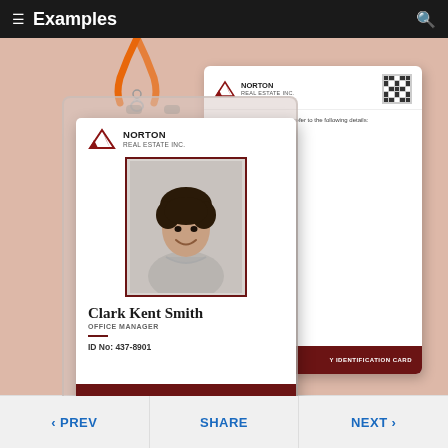Examples
[Figure (photo): Norton Real Estate Inc. employee ID card mockup showing front and back of emergency identification card for Clark Kent Smith, Office Manager, ID No: 437-8901, with company logo, photo, and dark red footer. Back card shows emergency contact details and terms and conditions.]
< PREV   SHARE   NEXT >